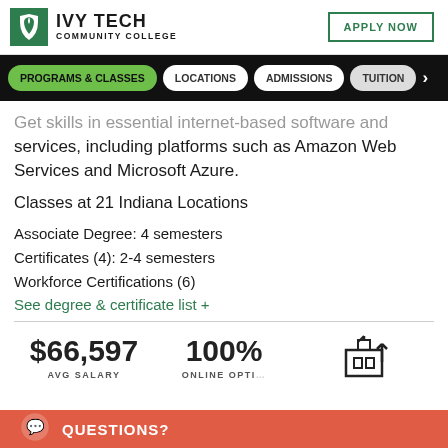[Figure (logo): Ivy Tech Community College logo with green leaf emblem]
APPLY NOW
[Figure (screenshot): Navigation bar with Programs & Classes (active), Locations, Admissions, Tuition buttons]
Get skills in essential internet-based software and services, including platforms such as Amazon Web Services and Microsoft Azure.
Classes at 21 Indiana Locations
Associate Degree: 4 semesters
Certificates (4): 2-4 semesters
Workforce Certifications (6)
See degree & certificate list +
$66,597
AVG SALARY
100%
ONLINE OPTI…
QUESTIONS?